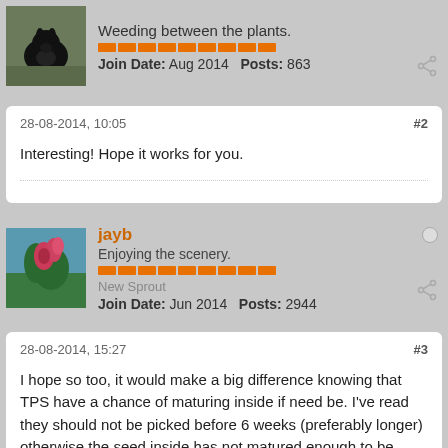[Figure (photo): Forum user avatar showing a black rabbit on grass, with username area showing title 'Weeding between the plants.', orange rep pips, Join Date Aug 2014, Posts 863]
Weeding between the plants.
Join Date: Aug 2014    Posts: 863
28-08-2014, 10:05
#2
Interesting! Hope it works for you.
[Figure (photo): Forum user avatar showing pink/magenta flower buds on green plant, username jayb, title 'Enjoying the scenery.', orange rep pips, rank New Sprout, Join Date Jun 2014, Posts 2944]
jayb
Enjoying the scenery.
New Sprout
Join Date: Jun 2014    Posts: 2944
28-08-2014, 15:27
#3
I hope so too, it would make a big difference knowing that TPS have a chance of maturing inside if need be. I've read they should not be picked before 6 weeks (preferably longer) otherwise the seed inside has not matured enough to be viable. I've not come across cutting a stem and being able to keep the pods developing.